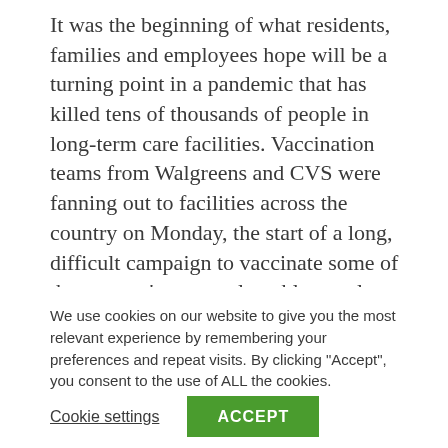It was the beginning of what residents, families and employees hope will be a turning point in a pandemic that has killed tens of thousands of people in long-term care facilities. Vaccination teams from Walgreens and CVS were fanning out to facilities across the country on Monday, the start of a long, difficult campaign to vaccinate some of the country's most vulnerable people.
At the facility near Seattle, the Life Care Center of Kirkland. which is connected with 46 coronavirus
We use cookies on our website to give you the most relevant experience by remembering your preferences and repeat visits. By clicking "Accept", you consent to the use of ALL the cookies.
Cookie settings | ACCEPT